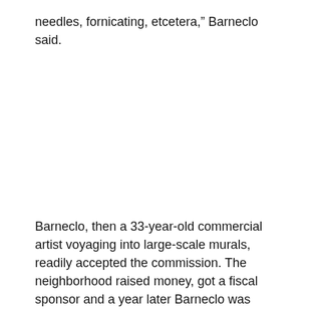needles, fornicating, etcetera,” Barneclo said.
Barneclo, then a 33-year-old commercial artist voyaging into large-scale murals, readily accepted the commission. The neighborhood raised money, got a fiscal sponsor and a year later Barneclo was